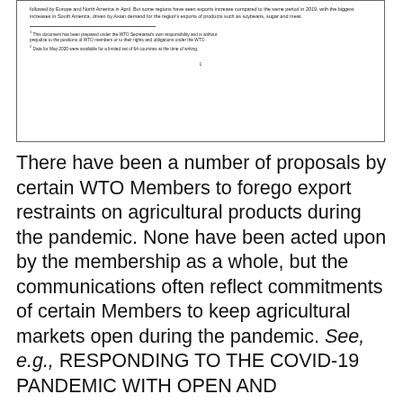followed by Europe and North America in April. But some regions have seen exports increase compared to the same period in 2019, with the biggest increases in South America, driven by Asian demand for the region's exports of products such as soybeans, sugar and meat.
1 This document has been prepared under the WTO Secretariat's own responsibility and is without prejudice to the positions of WTO members or to their rights and obligations under the WTO.
2 Data for May 2020 were available for a limited set of 64 countries at the time of writing.
1
There have been a number of proposals by certain WTO Members to forego export restraints on agricultural products during the pandemic. None have been acted upon by the membership as a whole, but the communications often reflect commitments of certain Members to keep agricultural markets open during the pandemic. See, e.g., RESPONDING TO THE COVID-19 PANDEMIC WITH OPEN AND PREDICTABLE TRADE IN AGRICULTURAL AND FOOD PRODUCTS, STATEMENT FROM: AUSTRALIA; BRAZIL; CANADA; CHILE; COLOMBIA; COSTA RICA; ECUADOR; EUROPEAN UNION; GEORGIA; HONG KONG, CHINA; JAPAN; REPUBLIC OF KOREA; MALAWI; MALAYSIA; MEXICO; NEW ZEALAND; NICARAGUA;